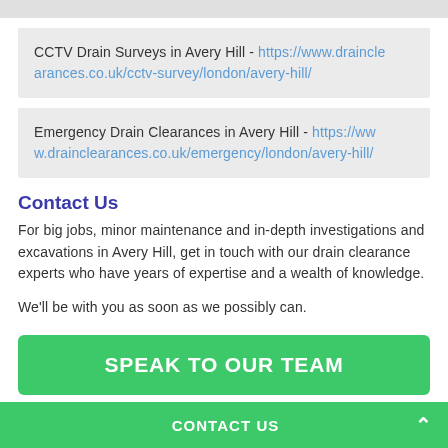CCTV Drain Surveys in Avery Hill - https://www.drainclearances.co.uk/cctv-survey/london/avery-hill/
Emergency Drain Clearances in Avery Hill - https://www.drainclearances.co.uk/emergency/london/avery-hill/
Contact Us
For big jobs, minor maintenance and in-depth investigations and excavations in Avery Hill, get in touch with our drain clearance experts who have years of expertise and a wealth of knowledge.
We'll be with you as soon as we possibly can.
SPEAK TO OUR TEAM
CONTACT US